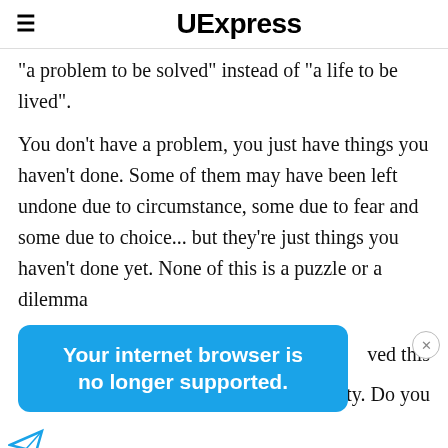UExpress
"a problem to be solved" instead of "a life to be lived". You don't have a problem, you just have things you haven't done. Some of them may have been left undone due to circumstance, some due to fear and some due to choice... but they're just things you haven't done yet. None of this is a puzzle or a dilemma
[Figure (screenshot): Blue popup box with text: Your internet browser is no longer supported.]
ved this
ity. Do you
To get the best experience on our site, we reco... latest v... e of
Report an ad
[Figure (screenshot): Disney Bundle advertisement: hulu, Disney+, ESPN+ GET THE DISNEY BUNDLE. Incl. Hulu (ad-supported) or Hulu (No Ads). Access content from each service separately. ©2021 Disney and its related entities]
learning? Do you have the things that make you